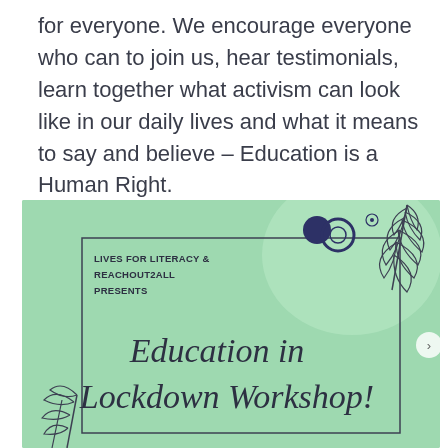for everyone. We encourage everyone who can to join us, hear testimonials, learn together what activism can look like in our daily lives and what it means to say and believe – Education is a Human Right.
[Figure (infographic): A light green promotional flyer for 'Education in Lockdown Workshop!' presented by Lives for Literacy & Reachout2All. Features decorative leaf illustrations, circles, a bordered card box with organization text, and a cursive script title.]